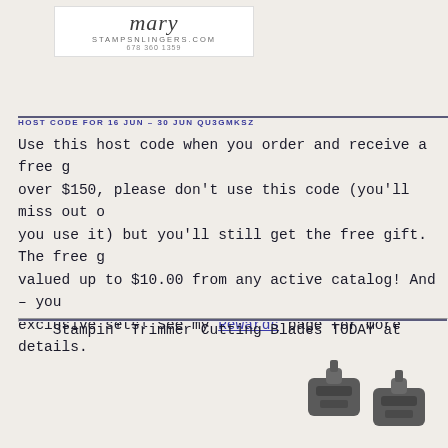[Figure (logo): Mary Stamps-n-Lingers logo with website stampsnlingers.com and phone 678 360 1359]
HOST CODE FOR 16 JUN – 30 JUN QU3GMKSZ
Use this host code when you order and receive a free g... over $150, please don't use this code (you'll miss out ... you use it) but you'll still get the free gift. The free g... valued up to $10.00 from any active catalog! And – you... exclusive sets! See my Rewards page for more details.
Stampin' Trimmer Cutting Blades TODAY at
[Figure (photo): Photo of dark grey/charcoal Stampin' Trimmer cutting blades in the lower right corner]